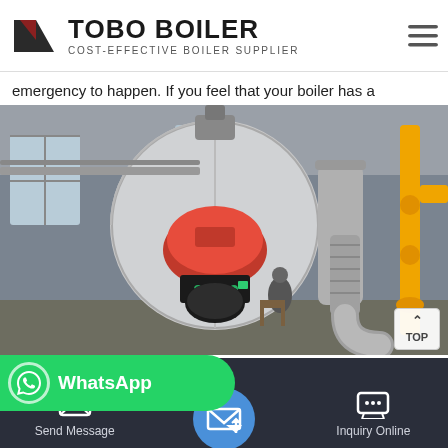TOBO BOILER — COST-EFFECTIVE BOILER SUPPLIER
emergency to happen. If you feel that your boiler has a problem,…
[Figure (photo): Industrial boiler with red burner unit, circular front face, metalwork pipework and yellow gas pipes in a factory setting. A 'TOP' scroll button overlay appears in the lower right corner.]
[Figure (screenshot): Green WhatsApp contact bar with phone icon and 'WhatsApp' label overlaid on lower page area.]
on Ltd | New Boiler
Send Message  |  [email icon]  |  Inquiry Online  |  ust Boi…